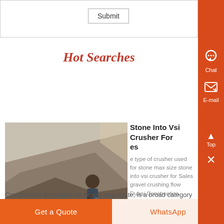|  | Submit |
Hot Searches
[Figure (photo): Worker operating stone crushing equipment outdoors]
Stone Into Vsi Crusher For es
e type of crusher used for stone max size stone into vsi crusher for Sales gravel crushing flow Dubai Construction aggregate Construction aggregate, or simply aggregate, is a broad category of coarse particulate Unlike deposits of sand and gravel or stone suitable for crushing into
Get a Quote   WhatsApp